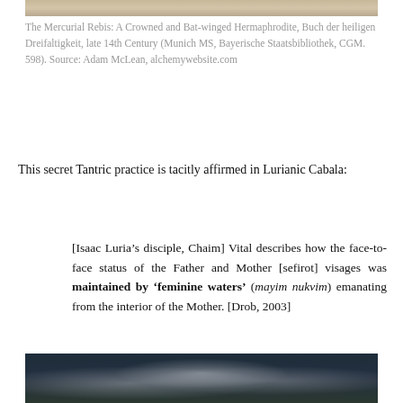[Figure (photo): Top portion of an illuminated manuscript or historical alchemical image, partially visible at the top of the page]
The Mercurial Rebis: A Crowned and Bat-winged Hermaphrodite, Buch der heiligen Dreifaltigkeit, late 14th Century (Munich MS, Bayerische Staatsbibliothek, CGM. 598). Source: Adam McLean, alchemywebsite.com
This secret Tantric practice is tacitly affirmed in Lurianic Cabala:
[Isaac Luria’s disciple, Chaim] Vital describes how the face-to-face status of the Father and Mother [sefirot] visages was maintained by ‘feminine waters’ (mayim nukvim) emanating from the interior of the Mother. [Drob, 2003]
[Figure (photo): Bottom portion of an illustration showing white birds or swans against a dark background with blue and green tones]